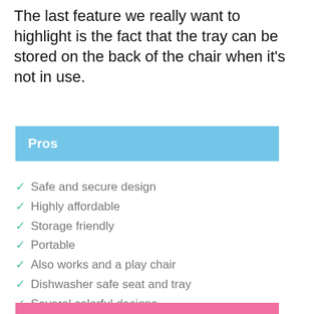The last feature we really want to highlight is the fact that the tray can be stored on the back of the chair when it's not in use.
Pros
Safe and secure design
Highly affordable
Storage friendly
Portable
Also works and a play chair
Dishwasher safe seat and tray
Several colorful designs